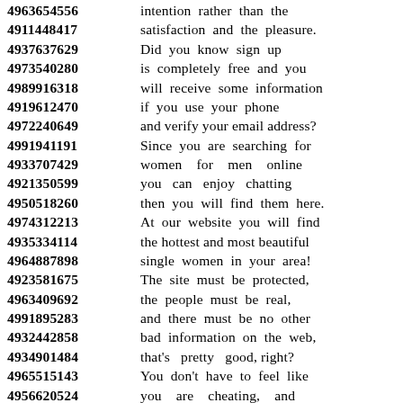4963654556 intention rather than the
4911448417 satisfaction and the pleasure.
4937637629 Did you know sign up
4973540280 is completely free and you
4989916318 will receive some information
4919612470 if you use your phone
4972240649 and verify your email address?
4991941191 Since you are searching for
4933707429 women for men online
4921350599 you can enjoy chatting
4950518260 then you will find them here.
4974312213 At our website you will find
4935334114 the hottest and most beautiful
4964887898 single women in your area!
4923581675 The site must be protected,
4963409692 the people must be real,
4991895283 and there must be no other
4932442858 bad information on the web,
4934901484 that's pretty good, right?
4965515143 You don't have to feel like
4956620524 you are cheating, and
4995186333 because our website is
4998287827 chatting and entertainment
4977729752 service which means no
4917239547 physical interactions between
4961154695 men and women online!